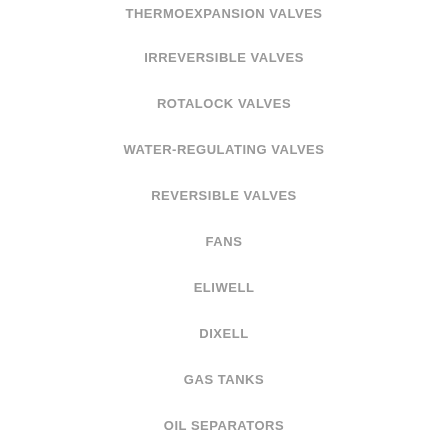THERMOEXPANSION VALVES
IRREVERSIBLE VALVES
ROTALOCK VALVES
WATER-REGULATING VALVES
REVERSIBLE VALVES
FANS
ELIWELL
DIXELL
GAS TANKS
OIL SEPARATORS